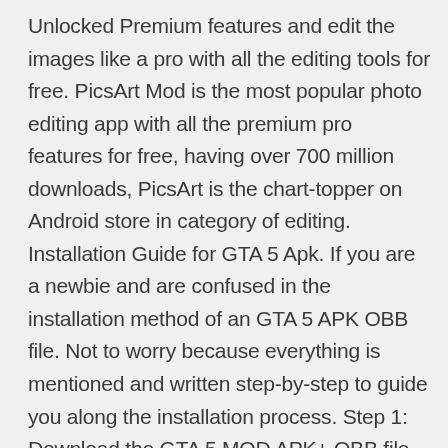Unlocked Premium features and edit the images like a pro with all the editing tools for free. PicsArt Mod is the most popular photo editing app with all the premium pro features for free, having over 700 million downloads, PicsArt is the chart-topper on Android store in category of editing. Installation Guide for GTA 5 Apk. If you are a newbie and are confused in the installation method of an GTA 5 APK OBB file. Not to worry because everything is mentioned and written step-by-step to guide you along the installation process. Step 1: Download the GTA 5 MOD APK+ OBB file via the links provided below at the bottom of this page. Netflix Mod APK PC. Step 2 – Download the Netflix Mod App for the Links mentioned above, you can download any one MOD APK file from the links mentioned above. Step 3 – After downloading the apk file on your windows pc, Double click the apk file now it automatically opens the bluestack emulator, and bluestacks will start installing the